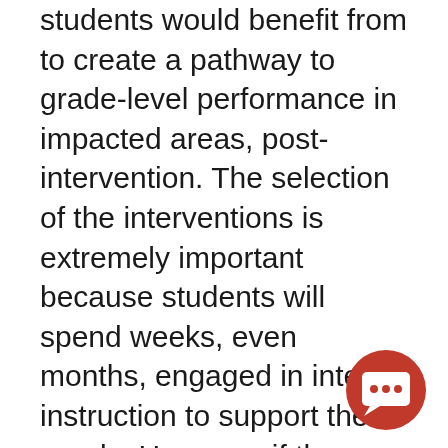students would benefit from to create a pathway to grade-level performance in impacted areas, post-intervention. The selection of the interventions is extremely important because students will spend weeks, even months, engaged in intense instruction to support their needs. However, if the intervention does not match their needs, and invaluable time has been wasted at the students' expense. The interventions should not only be research and evidence-based, but they must also match students' needs and vertically align to
[Figure (illustration): Orange circular chat/comment icon with white speech bubble and three dots]